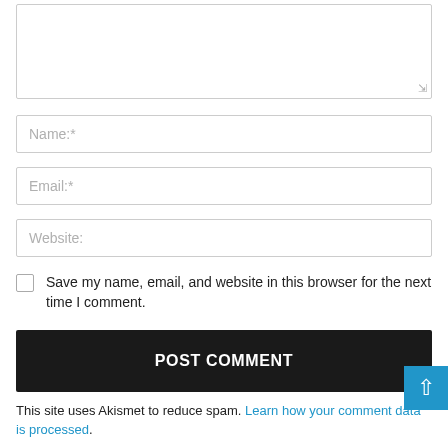[Figure (screenshot): Textarea input box (comment field) with resize handle, partially visible at top]
Name:*
Email:*
Website:
Save my name, email, and website in this browser for the next time I comment.
POST COMMENT
This site uses Akismet to reduce spam. Learn how your comment data is processed.